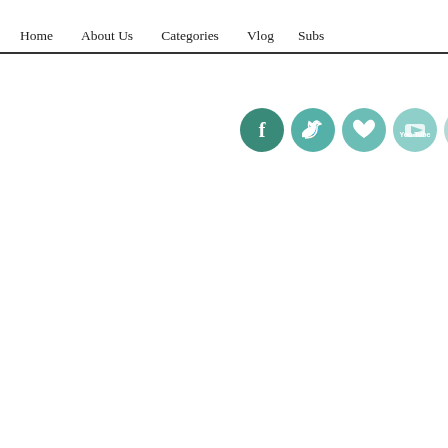Home   About Us   Categories   Vlog   Subs...
[Figure (illustration): Row of five circular social media icons: Facebook (teal/dark teal), Twitter (teal), heart/like (teal), YouTube (light teal), and a news/RSS icon (light gray-teal)]
this sum... should b... only thi...
What d...
To stay... on blogh...
[Figure (illustration): Two square social share buttons: Facebook (blue with f icon) and Google+ (red with g+ icon)]